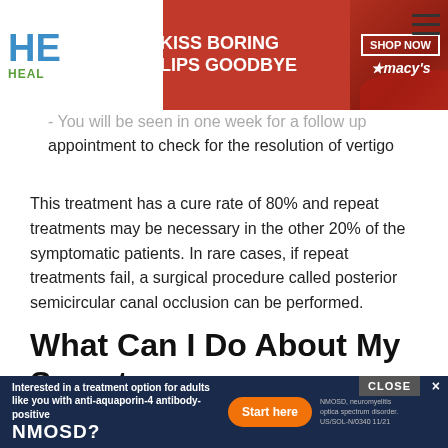[Figure (photo): Advertisement banner at top: Macy's 'Kiss Boring Lips Goodbye' ad with red background and woman's face with red lipstick, Shop Now button]
You will be seen in one week for a follow up appointment to check for the resolution of vertigo
This treatment has a cure rate of 80% and repeat treatments may be necessary in the other 20% of the symptomatic patients. In rare cases, if repeat treatments fail, a surgical procedure called posterior semicircular canal occlusion can be performed.
What Can I Do About My Symptoms
Don't move too quickly you might lose your balance
Remember to use your cane or other assistive... (cut off)
[Figure (photo): Bottom advertisement banner for NMOSD treatment with Start Here button]